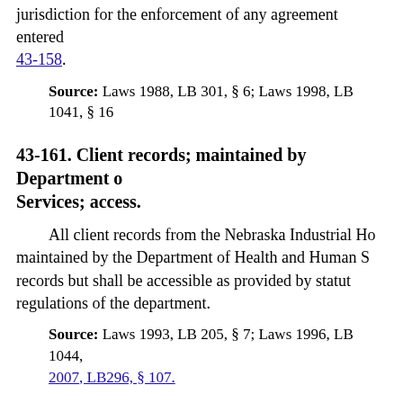jurisdiction for the enforcement of any agreement entered 43-158.
Source: Laws 1988, LB 301, § 6; Laws 1998, LB 1041, § 16
43-161. Client records; maintained by Department of Services; access.
All client records from the Nebraska Industrial Ho maintained by the Department of Health and Human S records but shall be accessible as provided by statut regulations of the department.
Source: Laws 1993, LB 205, § 7; Laws 1996, LB 1044, 2007, LB296, § 107.
43-162. Communication or contact agreement; authoriz
The prospective adoptive parent or parents and the bir prospective adoptee may enter into an agreement rega